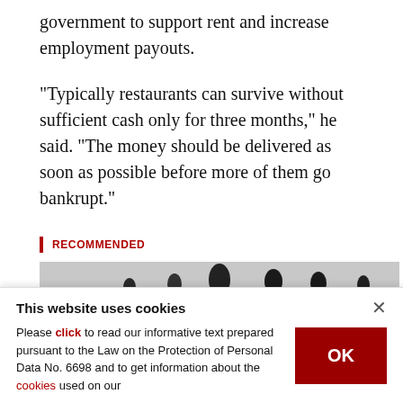government to support rent and increase employment payouts.
"Typically restaurants can survive without sufficient cash only for three months," he said. "The money should be delivered as soon as possible before more of them go bankrupt."
RECOMMENDED
[Figure (photo): Black and white photo showing silhouettes of people or objects, partially visible at the bottom of the main content area.]
This website uses cookies
Please click to read our informative text prepared pursuant to the Law on the Protection of Personal Data No. 6698 and to get information about the cookies used on our